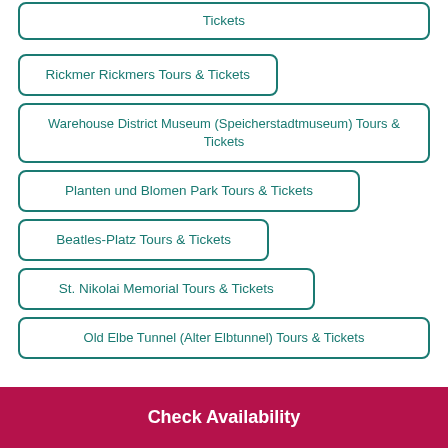Tickets
Rickmer Rickmers Tours & Tickets
Warehouse District Museum (Speicherstadtmuseum) Tours & Tickets
Planten und Blomen Park Tours & Tickets
Beatles-Platz Tours & Tickets
St. Nikolai Memorial Tours & Tickets
Old Elbe Tunnel (Alter Elbtunnel) Tours & Tickets
Check Availability